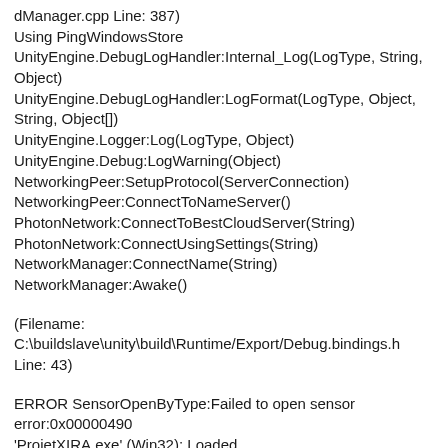dManager.cpp Line: 387)
Using PingWindowsStore
UnityEngine.DebugLogHandler:Internal_Log(LogType, String, Object)
UnityEngine.DebugLogHandler:LogFormat(LogType, Object, String, Object[])
UnityEngine.Logger:Log(LogType, Object)
UnityEngine.Debug:LogWarning(Object)
NetworkingPeer:SetupProtocol(ServerConnection)
NetworkingPeer:ConnectToNameServer()
PhotonNetwork:ConnectToBestCloudServer(String)
PhotonNetwork:ConnectUsingSettings(String)
NetworkManager:ConnectName(String)
NetworkManager:Awake()
(Filename: C:\buildslave\unity\build\Runtime/Export/Debug.bindings.h Line: 43)
ERROR SensorOpenByType:Failed to open sensor error:0x00000490
'ProjetXIRA.exe' (Win32): Loaded
'C:\Windows\System32\rometadata.dll'. Symbols loaded.